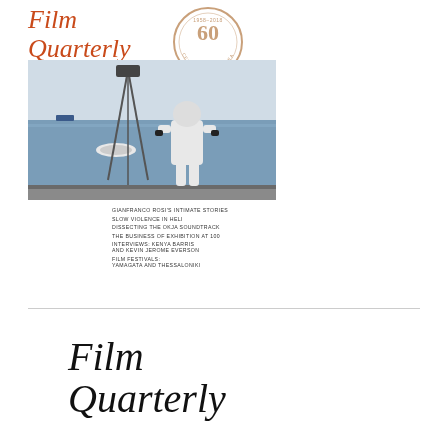Film Quarterly
Spring 2018  Volume 71  Number 3
[Figure (photo): Cover photo of Film Quarterly Spring 2018: A person in a white hazmat suit standing on a ship deck, viewed from behind, looking out at the sea. A small boat is visible in the water. A camera or equipment tripod is visible.]
GIANFRANCO ROSI'S INTIMATE STORIES
SLOW VIOLENCE IN HELI
DISSECTING THE OKJA SOUNDTRACK
THE BUSINESS OF EXHIBITION AT 100
INTERVIEWS: KENYA BARRIS AND KEVIN JEROME EVERSON
FILM FESTIVALS: YAMAGATA AND THESSALONIKI
Film Quarterly